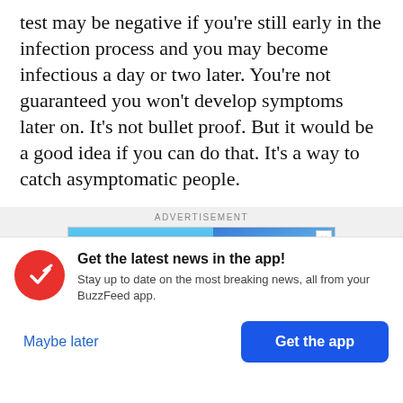test may be negative if you're still early in the infection process and you may become infectious a day or two later. You're not guaranteed you won't develop symptoms later on. It's not bullet proof. But it would be a good idea if you can do that. It's a way to catch asymptomatic people.
[Figure (screenshot): Advertisement banner showing SCJohnson Ziploc brand ad with blue background and product image]
Get the latest news in the app! Stay up to date on the most breaking news, all from your BuzzFeed app.
Maybe later
Get the app